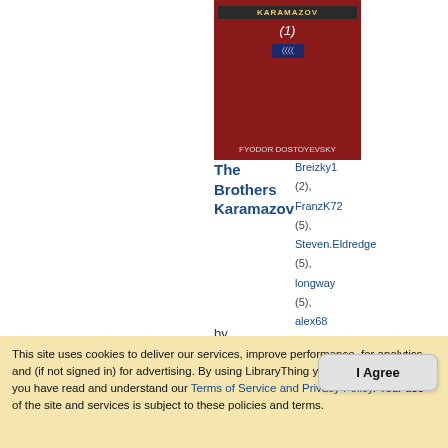[Figure (photo): Book cover of The Brothers Karamazov by Fyodor Dostoyevsky - red cover with author name]
The Brothers Karamazov by Fyodor Dostoyevsky
Breizky1 (2), FranzK72 (5), Steven.Eldredge (5), longway (5), alex68 (6), Rubenwiering (6), thecoroner (6), roby72
26,458 members, 301 reviews
★★★★½ (4.37 stars)
This site uses cookies to deliver our services, improve performance, for analytics, and (if not signed in) for advertising. By using LibraryThing you acknowledge that you have read and understand our Terms of Service and Privacy Policy. Your use of the site and services is subject to these policies and terms.